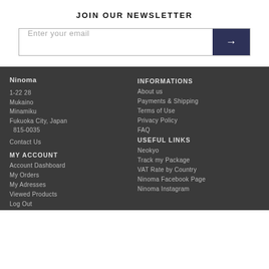JOIN OUR NEWSLETTER
[Figure (other): Email input field with arrow submit button]
Ninoma
1-22 28
Mukaino
Minamiku
Fukuoka City, Japan
  815-0035
Contact Us
MY ACCOUNT
Account Dashboard
My Orders
My Adresses
Viewed Products
Log Out
INFORMATIONS
About us
Payments & Shipping
Terms of Use
Privacy Policy
FAQ
USEFUL LINKS
Neokyo
Track my Package
VAT Rate by Country
Ninoma Facebook Page
Ninoma Instagram